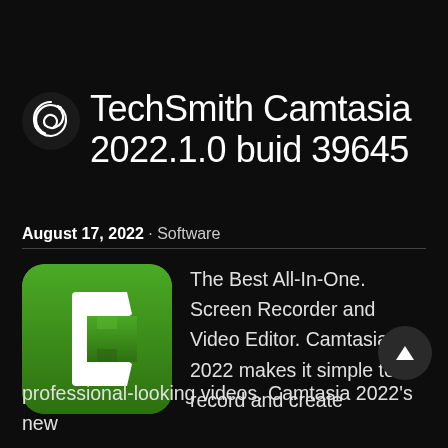TechSmith Camtasia 2022.1.0 buid 39645
August 17, 2022 · Software
[Figure (logo): TechSmith Camtasia green app icon with white C bracket letter]
The Best All-In-One. Screen Recorder and Video Editor. Camtasia 2022 makes it simple to record and create professional-looking videos. Camtasia 2022's new